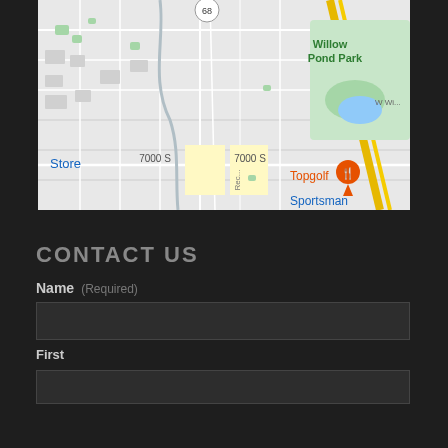[Figure (map): Google Maps screenshot showing a suburban area with streets labeled 7000 S, landmarks including Willow Pond Park (green area), Topgolf with orange pin marker, Sportsman label, a Store label in blue, and route 68 marker at top. Road layout with light gray street grid on white background.]
CONTACT US
Name (Required)
First